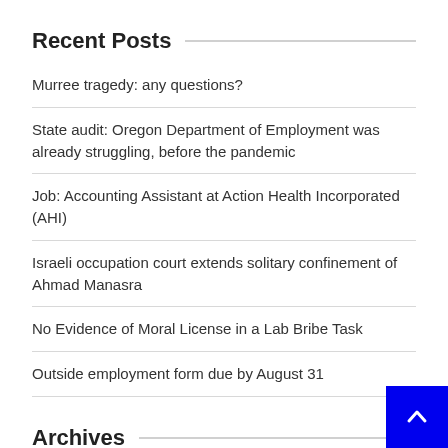Recent Posts
Murree tragedy: any questions?
State audit: Oregon Department of Employment was already struggling, before the pandemic
Job: Accounting Assistant at Action Health Incorporated (AHI)
Israeli occupation court extends solitary confinement of Ahmad Manasra
No Evidence of Moral License in a Lab Bribe Task
Outside employment form due by August 31
Archives
August 2022